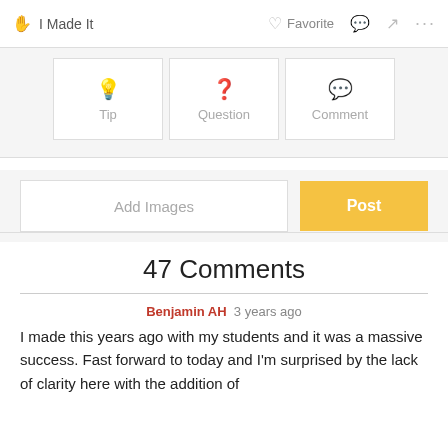I Made It  Favorite  ...
Tip  Question  Comment
Add Images  Post
47 Comments
Benjamin AH 3 years ago
I made this years ago with my students and it was a massive success. Fast forward to today and I'm surprised by the lack of clarity here with the addition of